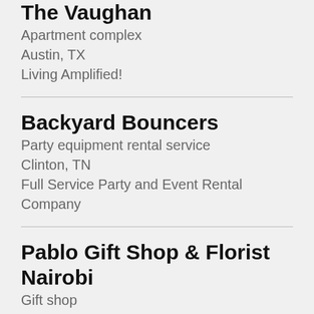The Vaughan
Apartment complex
Austin, TX
Living Amplified!
Backyard Bouncers
Party equipment rental service
Clinton, TN
Full Service Party and Event Rental Company
Pablo Gift Shop & Florist Nairobi
Gift shop